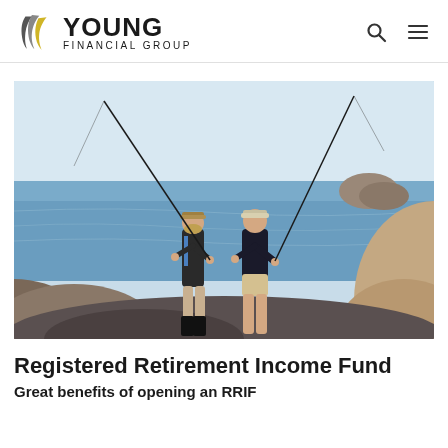Young Financial Group
[Figure (photo): Two elderly people fishing at a rocky seaside, holding fishing rods cast out toward the ocean water]
Registered Retirement Income Fund
Great benefits of opening an RRIF